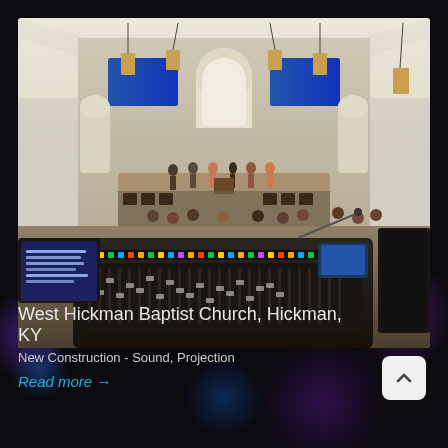[Figure (photo): Interior of West Hickman Baptist Church sanctuary during a worship rehearsal or service. A large digital audio mixing console is in the foreground. Behind it, the sanctuary features vaulted ceilings, pendant lights, projection screens, and people on stage. A monitor screen showing song lyrics is visible on the left.]
West Hickman Baptist Church, Hickman, KY
New Construction - Sound, Projection
Read more →